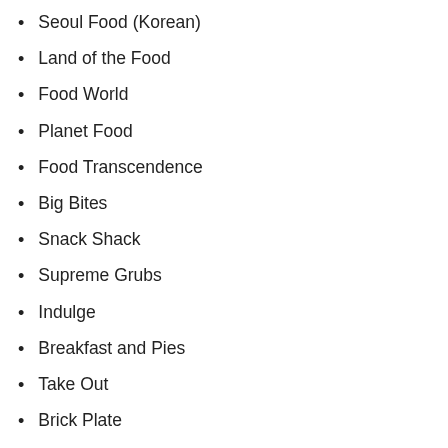Seoul Food (Korean)
Land of the Food
Food World
Planet Food
Food Transcendence
Big Bites
Snack Shack
Supreme Grubs
Indulge
Breakfast and Pies
Take Out
Brick Plate